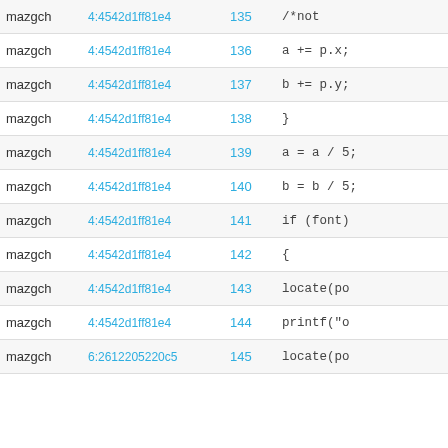| name | commit | line | code |
| --- | --- | --- | --- |
| mazgch | 4:4542d1ff81e4 | 135 | /*not |
| mazgch | 4:4542d1ff81e4 | 136 | a += p.x; |
| mazgch | 4:4542d1ff81e4 | 137 | b += p.y; |
| mazgch | 4:4542d1ff81e4 | 138 | } |
| mazgch | 4:4542d1ff81e4 | 139 | a = a / 5; |
| mazgch | 4:4542d1ff81e4 | 140 | b = b / 5; |
| mazgch | 4:4542d1ff81e4 | 141 | if (font) |
| mazgch | 4:4542d1ff81e4 | 142 | { |
| mazgch | 4:4542d1ff81e4 | 143 | locate(po |
| mazgch | 4:4542d1ff81e4 | 144 | printf("o |
| mazgch | 6:2612205220c5 | 145 | locate(po |
Important Information for this Arm website
This site uses cookies to store information on your computer. By continuing to use our site, you consent to our cookies. If you are not happy with the use of these cookies, please review our Cookie Policy to learn how they can be disabled. By disabling cookies, some features of the site will not work.
Accept and hide this message